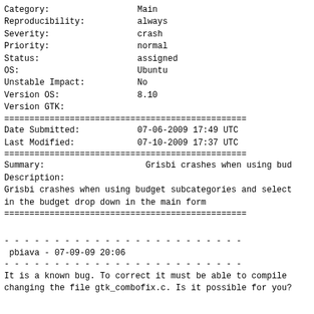| Category: | Main |
| Reproducibility: | always |
| Severity: | crash |
| Priority: | normal |
| Status: | assigned |
| OS: | Ubuntu |
| Unstable Impact: | No |
| Version OS: | 8.10 |
| Version GTK: |  |
========================================
| Date Submitted: | 07-06-2009 17:49 UTC |
| Last Modified: | 07-10-2009 17:37 UTC |
========================================
Summary:                    Grisbi crashes when using bud
Description:
Grisbi crashes when using budget subcategories and select
in the budget drop down in the main form
========================================
pbiava - 07-09-09 20:06
It is a known bug. To correct it must be able to compile
changing the file gtk_combofix.c. Is it possible for you?
amay82 - 07-10-09 13:10
Yes, what do I have to change?